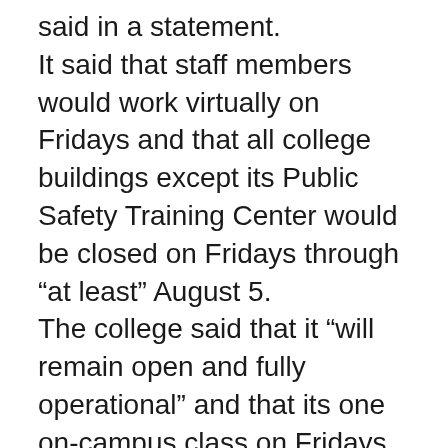said in a statement. It said that staff members would work virtually on Fridays and that all college buildings except its Public Safety Training Center would be closed on Fridays through “at least” August 5. The college said that it “will remain open and fully operational” and that its one on-campus class on Fridays would continue as scheduled. Southwest Tennessee Community College in Memphis has also shifted to online-only on Fridays, with its president attributing this to “historic inflation numbers and increasing gas prices.” The college is closing its buildings, shifting classes online, and making employees